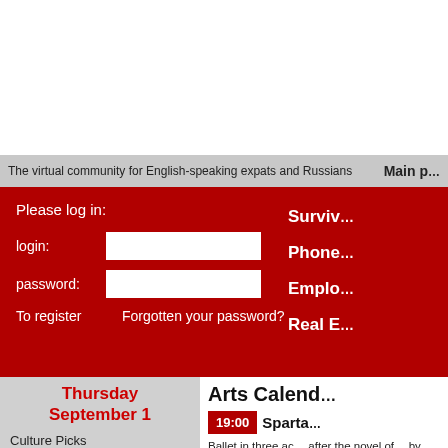[Figure (other): White advertisement/banner area at top of page]
The virtual community for English-speaking expats and Russians   Main p...
Please log in:
login:
password:
To register
Forgotten your password?
Surviv...
Phone...
Emplo...
Real E...
Thursday
September 1
Culture Picks
Culture Reviews
TV Listings
Arts Calend...
19:00
Sparta...
Ballet in three ac... after the novel of... by Nikolai Volko... Grigorovich. Basi...